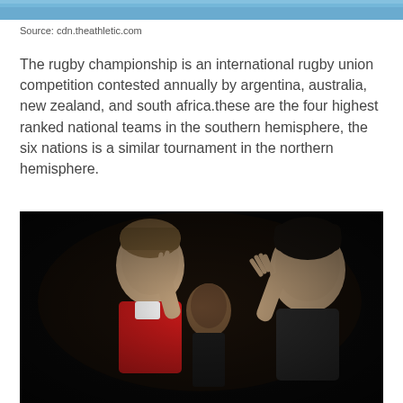[Figure (photo): Top strip of an image from cdn.theathletic.com, showing what appears to be a sports/rugby scene with blue tones]
Source: cdn.theathletic.com
The rugby championship is an international rugby union competition contested annually by argentina, australia, new zealand, and south africa.these are the four highest ranked national teams in the southern hemisphere, the six nations is a similar tournament in the northern hemisphere.
[Figure (photo): Dark photograph of two rugby players appearing to celebrate or interact, raising their hands, shown against a dark background]